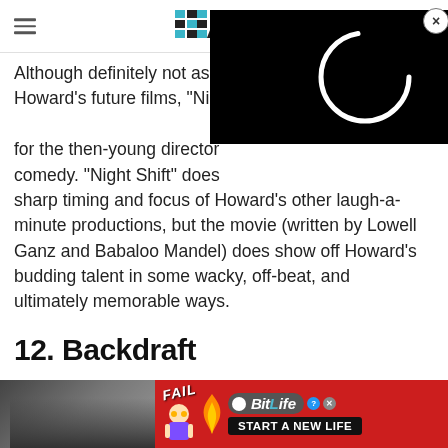/Film
[Figure (screenshot): Video player overlay on black background with loading spinner (white arc circle) and close button (X in circle)]
Although definitely not as good as some of Howard's future films, "Night Shift" was an important film for the then-young director as a mainstream comedy. "Night Shift" doesn't have the sharp timing and focus of Howard's other laugh-a-minute productions, but the movie (written by Lowell Ganz and Babaloo Mandel) does show off Howard's budding talent in some wacky, off-beat, and ultimately memorable ways.
12. Backdraft
[Figure (screenshot): Bottom of page showing partial photo on left and BitLife advertisement banner on right with red background, FAIL text, cartoon girl, flames, BitLife logo, and START A NEW LIFE tagline]